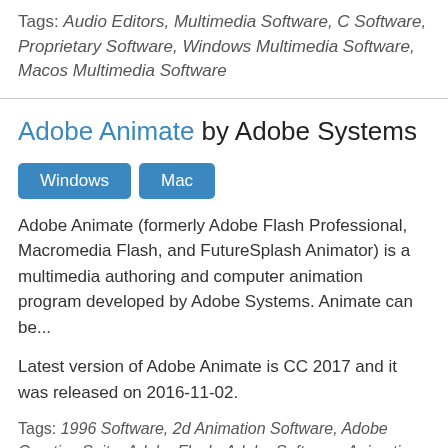Tags: Audio Editors, Multimedia Software, C Software, Proprietary Software, Windows Multimedia Software, Macos Multimedia Software
Adobe Animate by Adobe Systems
Windows  Mac
Adobe Animate (formerly Adobe Flash Professional, Macromedia Flash, and FutureSplash Animator) is a multimedia authoring and computer animation program developed by Adobe Systems. Animate can be...
Latest version of Adobe Animate is CC 2017 and it was released on 2016-11-02.
Tags: 1996 Software, 2d Animation Software, Adobe Creative Suite, Adobe Flash, Adobe Software, Animation Software, C Software, Crossplatform Software, Graphics File Formats